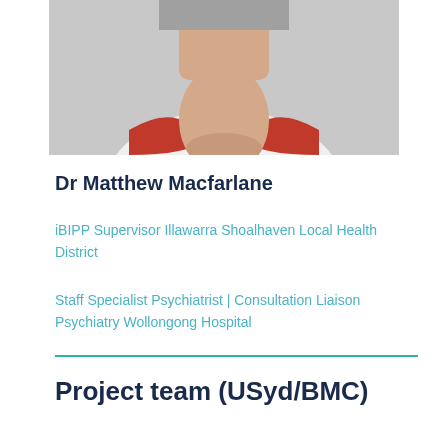[Figure (photo): Headshot photo of Dr Matthew Macfarlane, showing lower face and neck, wearing a red and white collar]
Dr Matthew Macfarlane
iBIPP Supervisor Illawarra Shoalhaven Local Health District
Staff Specialist Psychiatrist | Consultation Liaison Psychiatry Wollongong Hospital
Project team (USyd/BMC)